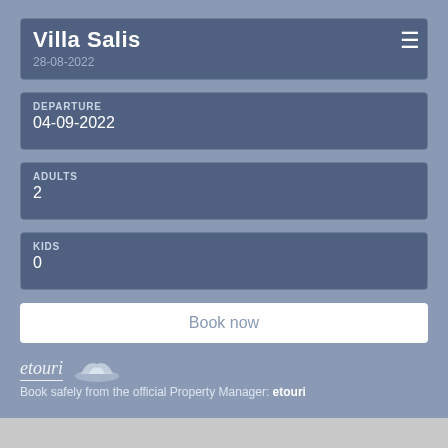Villa Salis
28-08-2022
DEPARTURE
04-09-2022
ADULTS
2
KIDS
0
Book now
[Figure (logo): etouri logo with italic text and boat/wave icon]
Book safely from the official Property Manager: etouri